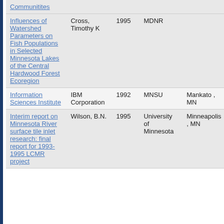| Title | Author | Year | Organization | Location |
| --- | --- | --- | --- | --- |
| Communitites |  |  |  |  |
| Influences of Watershed Parameters on Fish Populations in Selected Minnesota Lakes of the Central Hardwood Forest Ecoregion | Cross, Timothy K | 1995 | MDNR |  |
| Information Sciences Institute | IBM Corporation | 1992 | MNSU | Mankato , MN |
| Interim report on Minnesota River surface tile inlet research: final report for 1993-1995 LCMR project | Wilson, B.N. | 1995 | University of Minnesota | Minneapolis , MN |